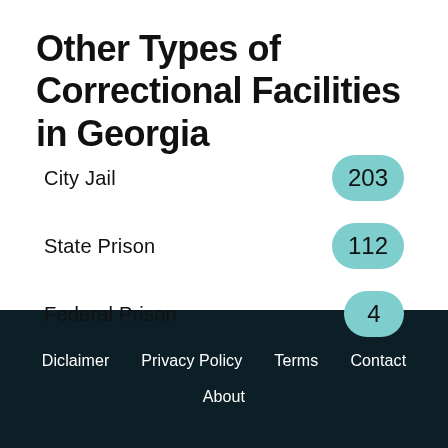Other Types of Correctional Facilities in Georgia
City Jail   203
State Prison   112
Federal Prison   4
Diclaimer   Privacy Policy   Terms   Contact   About